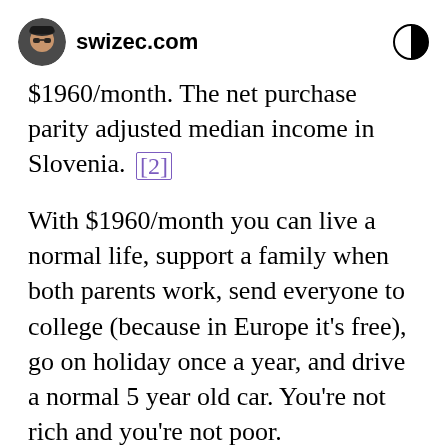swizec.com
$1960/month. The net purchase parity adjusted median income in Slovenia. [2]
With $1960/month you can live a normal life, support a family when both parents work, send everyone to college (because in Europe it's free), go on holiday once a year, and drive a normal 5 year old car. You're not rich and you're not poor.
Nothing wrong with that. Sounds like a great life.